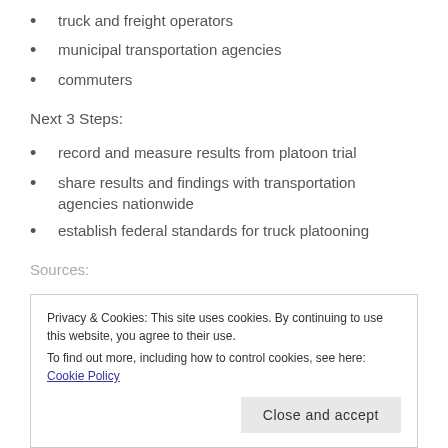truck and freight operators
municipal transportation agencies
commuters
Next 3 Steps:
record and measure results from platoon trial
share results and findings with transportation agencies nationwide
establish federal standards for truck platooning
Sources:
Privacy & Cookies: This site uses cookies. By continuing to use this website, you agree to their use.
To find out more, including how to control cookies, see here: Cookie Policy